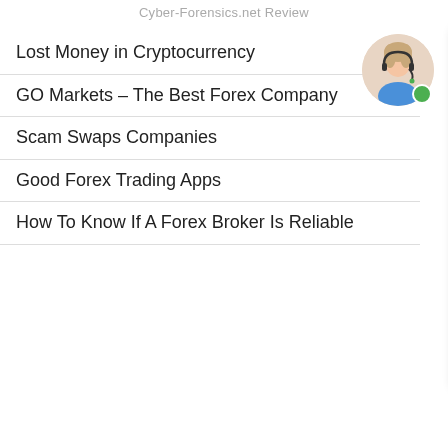Cyber-Forensics.net Review
Lost Money in Cryptocurrency
GO Markets – The Best Forex Company
Scam Swaps Companies
Good Forex Trading Apps
How To Know If A Forex Broker Is Reliable
[Figure (screenshot): Chat widget overlay showing question 'Hello, what brings you to our site today' with options: Recover money, Get Justice, Get informed about a company or scam, Help others avoid this scam, Find out if I have been scammed. Agent avatar in bottom right corner.]